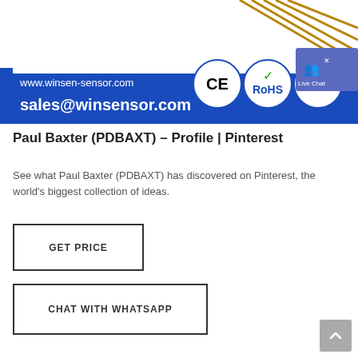[Figure (screenshot): Blue banner image for winsen-sensor.com showing CE and RoHS certification logos, website URL www.winsen-sensor.com and email sales@winsensor.com. A Live Chat popup overlay is visible in the top right corner.]
Paul Baxter (PDBAXT) – Profile | Pinterest
See what Paul Baxter (PDBAXT) has discovered on Pinterest, the world's biggest collection of ideas.
[Figure (screenshot): GET PRICE button with dark border outline]
[Figure (screenshot): CHAT WITH WHATSAPP button with dark border outline]